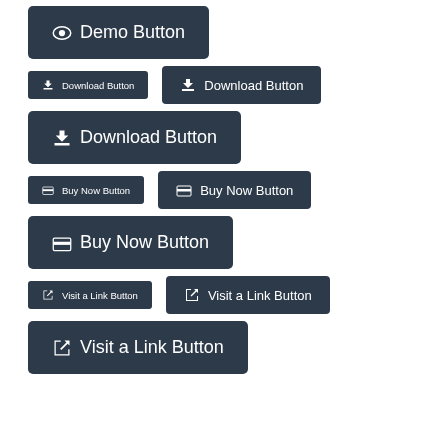[Figure (screenshot): UI button showcase with Demo Button (large), Download Button (small, medium, large), Buy Now Button (small, medium, large), and Visit a Link Button (small, medium, large), all in dark navy background style with icons.]